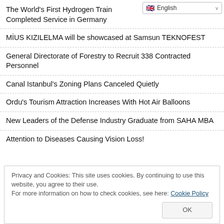The World's First Hydrogen Train Completed Service in Germany
MİUS KIZILELMA will be showcased at Samsun TEKNOFEST
General Directorate of Forestry to Recruit 338 Contracted Personnel
Canal Istanbul's Zoning Plans Canceled Quietly
Ordu's Tourism Attraction Increases With Hot Air Balloons
New Leaders of the Defense Industry Graduate from SAHA MBA
Attention to Diseases Causing Vision Loss!
Privacy and Cookies: This site uses cookies. By continuing to use this website, you agree to their use. For more information on how to check cookies, see here: Cookie Policy